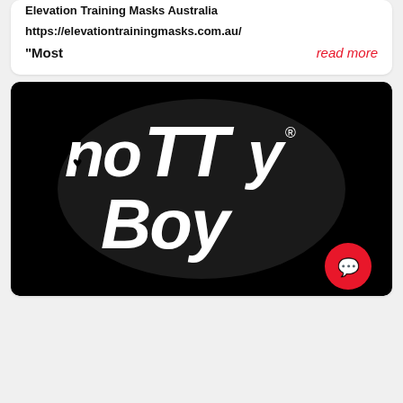Elevation Training Masks Australia
https://elevationtrainingmasks.com.au/
"Most    read more
[Figure (logo): Notty Boy logo — white bold stylized text on black background with a registered trademark symbol. Text reads 'noTTy Boy' with a heart symbol incorporated into the letter 'o'. A red circular chat bubble icon is in the bottom right corner.]